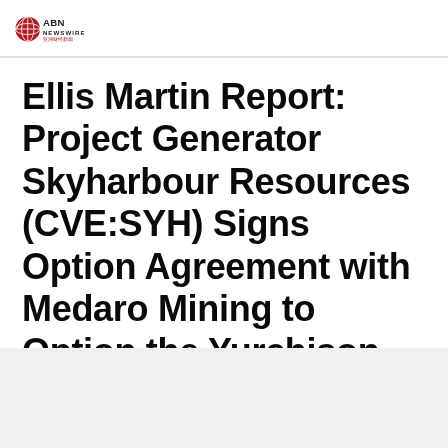[Figure (logo): ABN Newswire logo with red circular globe icon and text 'ABN NEWSWIRE' with Chinese characters below]
Ellis Martin Report: Project Generator Skyharbour Resources (CVE:SYH) Signs Option Agreement with Medaro Mining to Option the Yurchison Uranium Project
Malibu, CA, Nov 3, 2021 AEST (ABN Newswire)